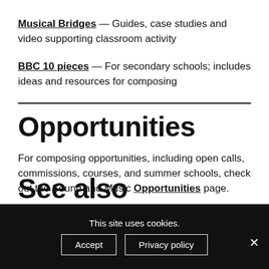Musical Bridges — Guides, case studies and video supporting classroom activity
BBC 10 pieces — For secondary schools; includes ideas and resources for composing
Opportunities
For composing opportunities, including open calls, commissions, courses, and summer schools, check out the Sound and Music Opportunities page.
See also
This site uses cookies.
Accept   Privacy policy